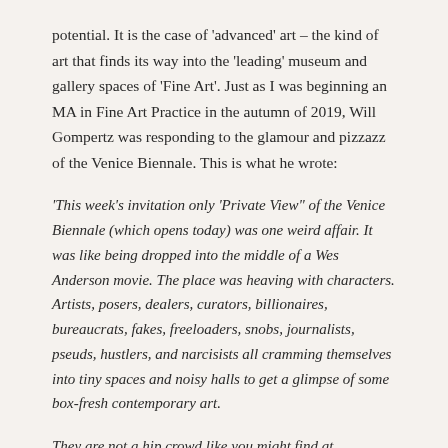potential. It is the case of 'advanced' art – the kind of art that finds its way into the 'leading' museum and gallery spaces of 'Fine Art'. Just as I was beginning an MA in Fine Art Practice in the autumn of 2019, Will Gompertz was responding to the glamour and pizzazz of the Venice Biennale. This is what he wrote:
'This week's invitation only 'Private View" of the Venice Biennale (which opens today) was one weird affair. It was like being dropped into the middle of a Wes Anderson movie. The place was heaving with characters. Artists, posers, dealers, curators, billionaires, bureaucrats, fakes, freeloaders, snobs, journalists, pseuds, hustlers, and narcisists all cramming themselves into tiny spaces and noisy halls to get a glimpse of some box-fresh contemporary art.
They are not a hip crowd like you might find at Coachella or